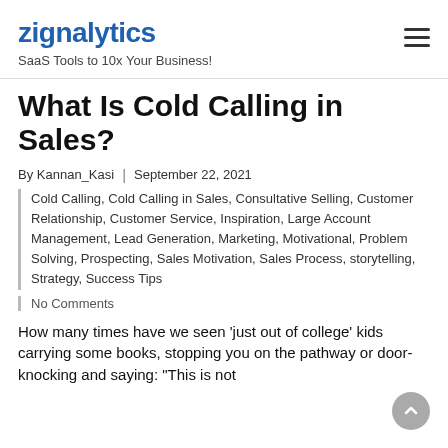zignalytics — SaaS Tools to 10x Your Business!
What Is Cold Calling in Sales?
By Kannan_Kasi | September 22, 2021
Cold Calling, Cold Calling in Sales, Consultative Selling, Customer Relationship, Customer Service, Inspiration, Large Account Management, Lead Generation, Marketing, Motivational, Problem Solving, Prospecting, Sales Motivation, Sales Process, storytelling, Strategy, Success Tips
No Comments
How many times have we seen 'just out of college' kids carrying some books, stopping you on the pathway or door-knocking and saying: "This is not